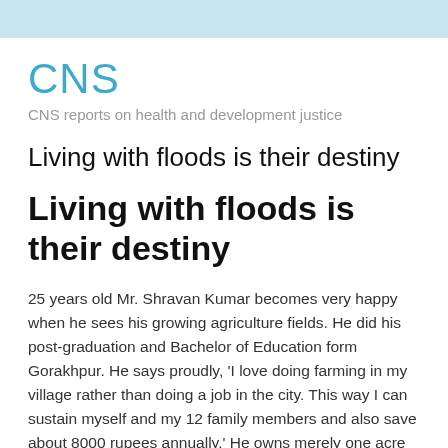CNS
CNS reports on health and development justice
Living with floods is their destiny
Living with floods is their destiny
25 years old Mr. Shravan Kumar becomes very happy when he sees his growing agriculture fields. He did his post-graduation and Bachelor of Education form Gorakhpur. He says proudly, 'I love doing farming in my village rather than doing a job in the city. This way I can sustain myself and my 12 family members and also save about 8000 rupees annually.' He owns merely one acre of land, which is often troubled by floods. In this small piece of land he produces